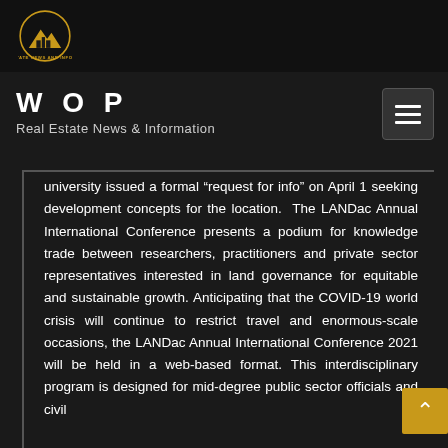Real Estate News and Information — WOP
WOP
Real Estate News & Information
university issued a formal “request for info” on April 1 seeking development concepts for the location. The LANDac Annual International Conference presents a podium for knowledge trade between researchers, practitioners and private sector representatives interested in land governance for equitable and sustainable growth. Anticipating that the COVID-19 world crisis will continue to restrict travel and enormous-scale occasions, the LANDac Annual International Conference 2021 will be held in a web-based format. This interdisciplinary program is designed for mid-degree public sector officials and civil